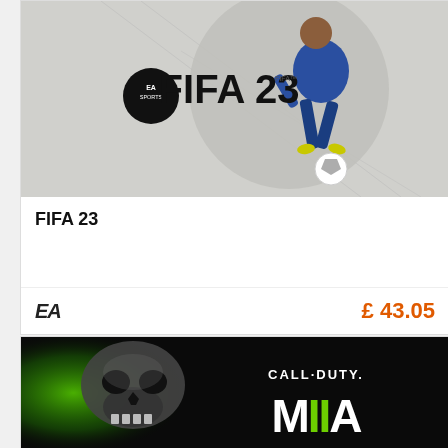[Figure (photo): FIFA 23 game cover art showing a footballer in a blue kit kicking a ball, with EA Sports and FIFA 23 logo on a grey/white background]
FIFA 23
EA
£ 43.05
[Figure (photo): Call of Duty Modern Warfare II game cover art showing a skull mask on a green and black background with CALL·DUTY· MIIA logo]